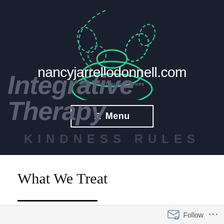[Figure (screenshot): Website header banner for nancyjarrellodonnell.com showing dark navy background with green outlined stacked stones logo, site title 'nancyjarrellodonnell.com', subtitle 'Integrative Therapy Services', a Menu button, large text 'Integrative Therapy' and 'KINDNESS RULES']
What We Treat
DEFINITIONS
Follow ...